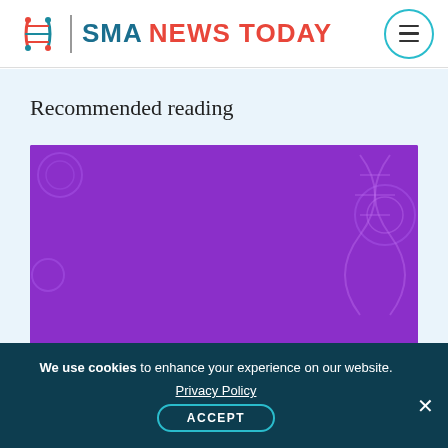[Figure (logo): SMA News Today logo with DNA helix icon and site name]
Recommended reading
[Figure (illustration): Purple banner image with white bold text reading: One family's fight for SMA treatment]
We use cookies to enhance your experience on our website. Privacy Policy ACCEPT